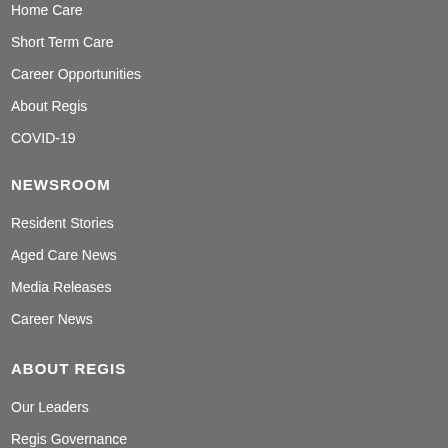Home Care
Short Term Care
Career Opportunities
About Regis
COVID-19
NEWSROOM
Resident Stories
Aged Care News
Media Releases
Career News
ABOUT REGIS
Our Leaders
Regis Governance